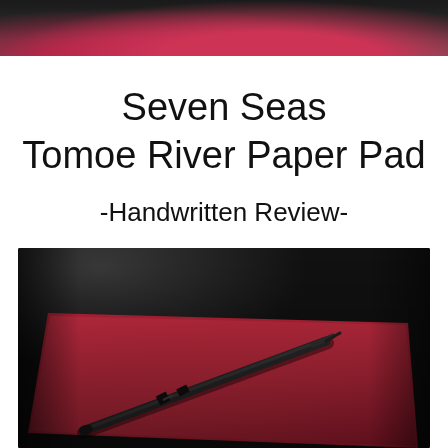[Figure (photo): Top portion of a photo showing a red notebook/pad on a dark wooden surface, cropped at the top of the page]
Seven Seas
Tomoe River Paper Pad
-Handwritten Review-
[Figure (photo): Photo of a red Seven Seas Tomoe River Paper Pad on a dark wooden table with a black fountain pen resting on top of it]